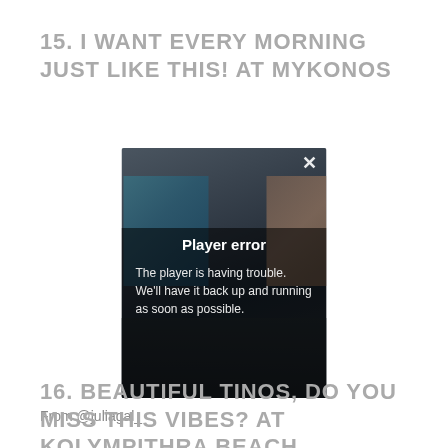15. I WANT EVERY MORNING JUST LIKE THIS! AT MYKONOS
[Figure (screenshot): A video player showing a dark interior scene with a large window, displaying a 'Player error' overlay message. The overlay reads: 'Player error' as title, and 'The player is having trouble. We'll have it back up and running as soon as possible.' A close (X) button is visible in the top-right corner of the player.]
From @juliagal_
16. BEAUTIFUL TINOS, DO YOU MISS THIS VIBES? AT KOLYMPITHRA BEACH